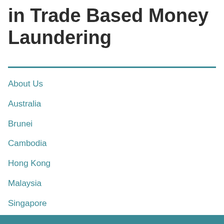in Trade Based Money Laundering
About Us
Australia
Brunei
Cambodia
Hong Kong
Malaysia
Singapore